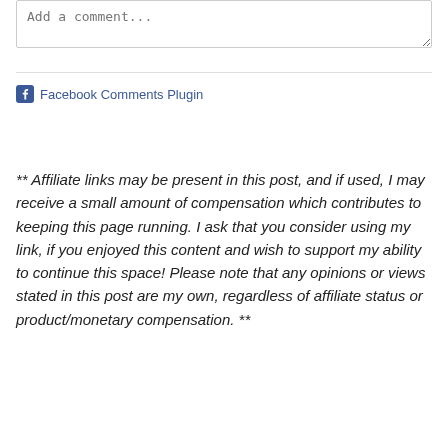Add a comment...
Facebook Comments Plugin
** Affiliate links may be present in this post, and if used, I may receive a small amount of compensation which contributes to keeping this page running. I ask that you consider using my link, if you enjoyed this content and wish to support my ability to continue this space! Please note that any opinions or views stated in this post are my own, regardless of affiliate status or product/monetary compensation. **